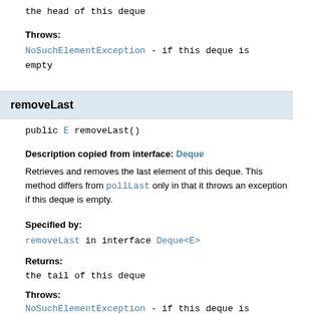the head of this deque
Throws:
NoSuchElementException - if this deque is empty
removeLast
public E removeLast()
Description copied from interface: Deque
Retrieves and removes the last element of this deque. This method differs from pollLast only in that it throws an exception if this deque is empty.
Specified by:
removeLast in interface Deque<E>
Returns:
the tail of this deque
Throws:
NoSuchElementException - if this deque is